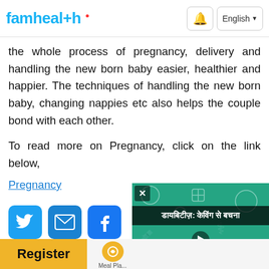famhealth | English
the whole process of pregnancy, delivery and handling the new born baby easier, healthier and happier. The techniques of handling the new born baby, changing nappies etc also helps the couple bond with each other.
To read more on Pregnancy, click on the link below,
Pregnancy
[Figure (screenshot): Social media share buttons: Twitter (blue bird icon), Email (envelope icon), Facebook (blue f icon)]
[Figure (screenshot): Video overlay showing Hindi text 'डायबिटीज़: केविंग से बचना' with play button and author Shubhda Bhanot, Nutritional & Chief Diabetes Educator, Max Hospital, Saket & Gurugram]
Register | Meal Pl...